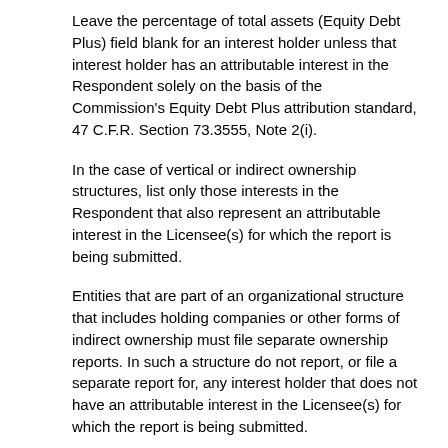Leave the percentage of total assets (Equity Debt Plus) field blank for an interest holder unless that interest holder has an attributable interest in the Respondent solely on the basis of the Commission's Equity Debt Plus attribution standard, 47 C.F.R. Section 73.3555, Note 2(i).
In the case of vertical or indirect ownership structures, list only those interests in the Respondent that also represent an attributable interest in the Licensee(s) for which the report is being submitted.
Entities that are part of an organizational structure that includes holding companies or other forms of indirect ownership must file separate ownership reports. In such a structure do not report, or file a separate report for, any interest holder that does not have an attributable interest in the Licensee(s) for which the report is being submitted.
Please see the Instructions for further detail concerning interests that must be reported in response to this question.